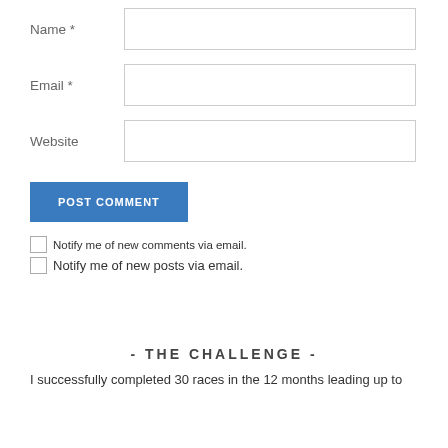Name *
Email *
Website
POST COMMENT
Notify me of new comments via email.
Notify me of new posts via email.
- THE CHALLENGE -
I successfully completed 30 races in the 12 months leading up to